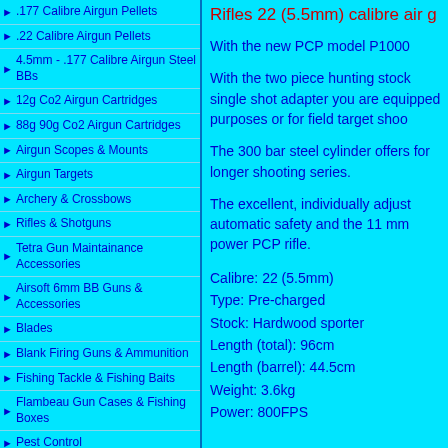.177 Calibre Airgun Pellets
.22 Calibre Airgun Pellets
4.5mm - .177 Calibre Airgun Steel BBs
12g Co2 Airgun Cartridges
88g 90g Co2 Airgun Cartridges
Airgun Scopes & Mounts
Airgun Targets
Archery & Crossbows
Rifles & Shotguns
Tetra Gun Maintainance Accessories
Airsoft 6mm BB Guns & Accessories
Blades
Blank Firing Guns & Ammunition
Fishing Tackle & Fishing Baits
Flambeau Gun Cases & Fishing Boxes
Pest Control
Camouflage Products
Hunting & Fishing Clothing
Sling Shot Catapults & Accessories
Camping Stoves & Butane Gas
Poker Game Gambling Sets
Paper Gloss & Matte
Rifles 22 (5.5mm) calibre air g
With the new PCP model P1000
With the two piece hunting stock single shot adapter you are equipped purposes or for field target shoo
The 300 bar steel cylinder offers for longer shooting series.
The excellent, individually adjust automatic safety and the 11 mm power PCP rifle.
Calibre: 22 (5.5mm)
Type: Pre-charged
Stock: Hardwood sporter
Length (total): 96cm
Length (barrel): 44.5cm
Weight: 3.6kg
Power: 800FPS